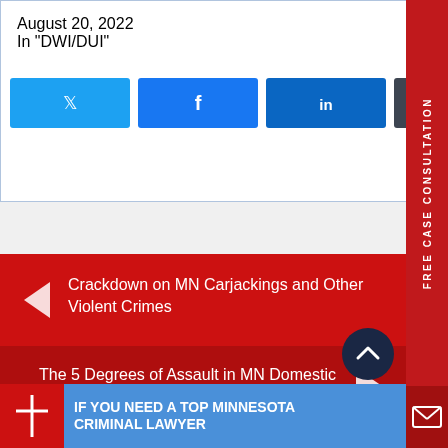August 20, 2022
In "DWI/DUI"
[Figure (infographic): Social share buttons: Twitter (blue), Facebook (blue), LinkedIn (blue), Buffer (dark gray)]
[Figure (infographic): Red vertical sidebar tab reading FREE CASE CONSULTATION with envelope icon at bottom]
Crackdown on MN Carjackings and Other Violent Crimes
The 5 Degrees of Assault in MN Domestic Violence
[Figure (infographic): Dark navy circle scroll-to-top button with upward chevron]
IF YOU NEED A TOP MINNESOTA CRIMINAL LAWYER